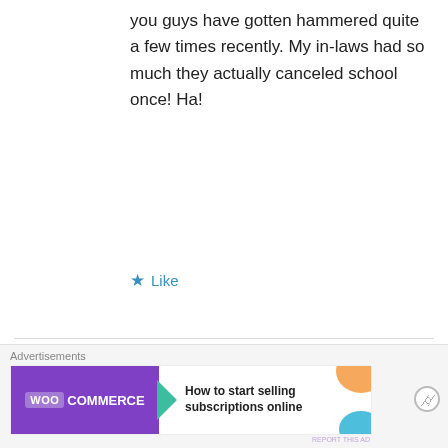you guys have gotten hammered quite a few times recently. My in-laws had so much they actually canceled school once! Ha!
★ Like
[Figure (illustration): Fandom on Tumblr advertisement banner with orange-to-purple gradient and decorative music/star elements]
REPORT THIS AD
Michelle
Advertisements
[Figure (illustration): WooCommerce advertisement banner: purple background with WooCommerce logo, teal arrow, and text 'How to start selling subscriptions online']
REPORT THIS AD